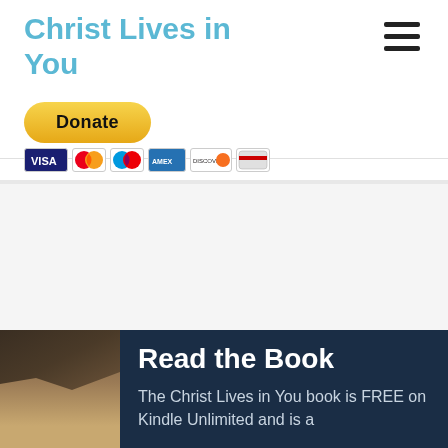Christ Lives in You
[Figure (other): Hamburger menu icon (three horizontal lines)]
[Figure (other): PayPal Donate button (yellow rounded rectangle with bold Donate text)]
[Figure (other): Row of payment card icons: Visa, Mastercard, Mastercard (debit), American Express, Discover, credit card]
[Figure (photo): Partial photo of a person's head/hair on the left side of a dark blue promotional banner]
Read the Book
The Christ Lives in You book is FREE on Kindle Unlimited and is a